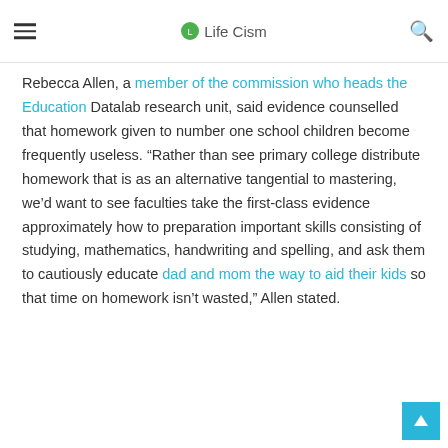Life Cism
Rebecca Allen, a member of the commission who heads the Education Datalab research unit, said evidence counselled that homework given to number one school children become frequently useless. “Rather than see primary college distribute homework that is as an alternative tangential to mastering, we’d want to see faculties take the first-class evidence approximately how to preparation important skills consisting of studying, mathematics, handwriting and spelling, and ask them to cautiously educate dad and mom the way to aid their kids so that time on homework isn’t wasted,” Allen stated.